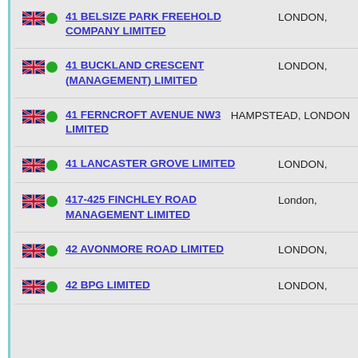41 BELSIZE PARK FREEHOLD COMPANY LIMITED
41 BUCKLAND CRESCENT (MANAGEMENT) LIMITED
41 FERNCROFT AVENUE NW3 LIMITED
41 LANCASTER GROVE LIMITED
417-425 FINCHLEY ROAD MANAGEMENT LIMITED
42 AVONMORE ROAD LIMITED
42 BPG LIMITED